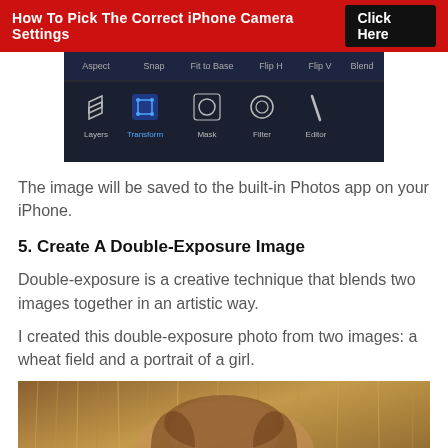How To Pick The Correct iPhone Camera Settings  Click Here
[Figure (screenshot): iPhone photo editing app toolbar showing Layers, Transform, Mask, Filter, Editor options on dark background with top row showing Aspect, Snap, Fit to Base, Flip H, Flip V, Blend]
The image will be saved to the built-in Photos app on your iPhone.
5. Create A Double-Exposure Image
Double-exposure is a creative technique that blends two images together in an artistic way.
I created this double-exposure photo from two images: a wheat field and a portrait of a girl.
[Figure (photo): Double-exposure photo blending a wheat field and a portrait of a girl, showing a child's face merged with golden wheat stalks]